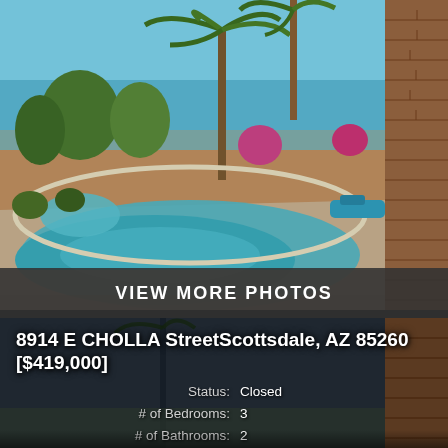[Figure (photo): Outdoor backyard pool area with palm trees, flowering bushes, and desert landscaping under a blue sky. A swimming pool and spa are visible with concrete decking. A brick pillar is on the right edge.]
VIEW MORE PHOTOS
8914 E CHOLLA StreetScottsdale, AZ 85260
[$419,000]
|  |  |
| --- | --- |
| Status: | Closed |
| # of Bedrooms: | 3 |
| # of Bathrooms: | 2 |
| Year Built: | 1979 |